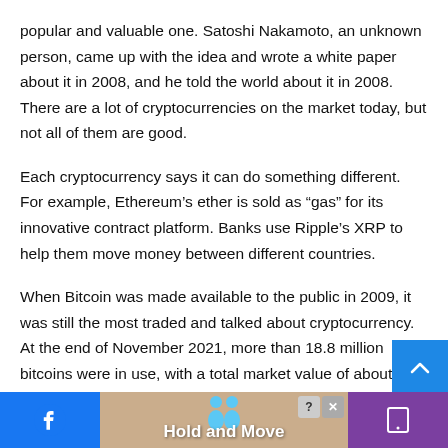popular and valuable one. Satoshi Nakamoto, an unknown person, came up with the idea and wrote a white paper about it in 2008, and he told the world about it in 2008. There are a lot of cryptocurrencies on the market today, but not all of them are good.
Each cryptocurrency says it can do something different. For example, Ethereum's ether is sold as “gas” for its innovative contract platform. Banks use Ripple’s XRP to help them move money between different countries.
When Bitcoin was made available to the public in 2009, it was still the most traded and talked about cryptocurrency. At the end of November 2021, more than 18.8 million bitcoins were in use, with a total market value of about $1.2 trillion. Only 2 million bi...
[Figure (screenshot): Bottom UI overlay with Facebook button on left, 'Hold and Move' advertisement banner in center with cartoon figures and close/help buttons, phone button on right in purple, and a blue scroll-up button on the far right.]